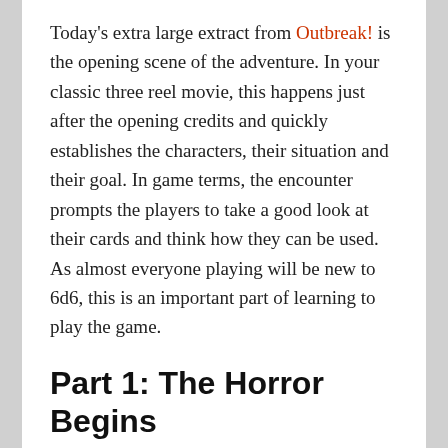Today's extra large extract from Outbreak! is the opening scene of the adventure. In your classic three reel movie, this happens just after the opening credits and quickly establishes the characters, their situation and their goal. In game terms, the encounter prompts the players to take a good look at their cards and think how they can be used. As almost everyone playing will be new to 6d6, this is an important part of learning to play the game.
Part 1: The Horror Begins
Before starting, ensure all the players have